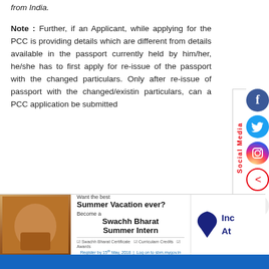from India.
Note : Further, if an Applicant, while applying for the PCC is providing details which are different from details available in the passport currently held by him/her, he/she has to first apply for re-issue of the passport with the changed particulars. Only after re-issue of passport with the changed/existing particulars, can a PCC application be submitted
[Figure (infographic): Social media sidebar with Facebook, Twitter, Instagram, back arrow, and YouTube icons with vertical 'Social Media' label in red]
[Figure (infographic): Advertisement banner: Swachh Bharat Summer Intern ad with photo and India map logo]